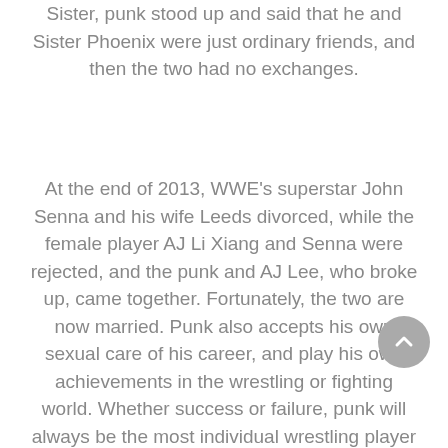Sister, punk stood up and said that he and Sister Phoenix were just ordinary friends, and then the two had no exchanges.
At the end of 2013, WWE's superstar John Senna and his wife Leeds divorced, while the female player AJ Li Xiang and Senna were rejected, and the punk and AJ Lee, who broke up, came together. Fortunately, the two are now married. Punk also accepts his own sexual care of his career, and play his own achievements in the wrestling or fighting world. Whether success or failure, punk will always be the most individual wrestling player in the